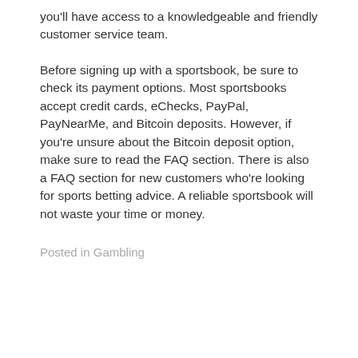you'll have access to a knowledgeable and friendly customer service team.
Before signing up with a sportsbook, be sure to check its payment options. Most sportsbooks accept credit cards, eChecks, PayPal, PayNearMe, and Bitcoin deposits. However, if you're unsure about the Bitcoin deposit option, make sure to read the FAQ section. There is also a FAQ section for new customers who're looking for sports betting advice. A reliable sportsbook will not waste your time or money.
Posted in Gambling